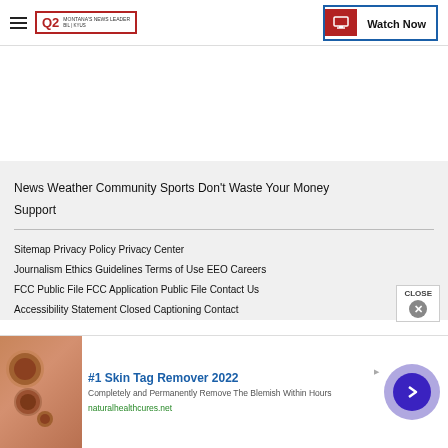Q2 MONTANA'S NEWS LEADER | Watch Now
News  Weather  Community  Sports  Don't Waste Your Money  Support
Sitemap  Privacy Policy  Privacy Center  Journalism Ethics Guidelines  Terms of Use  EEO  Careers  FCC Public File  FCC Application  Public File Contact Us  Accessibility Statement  Closed Captioning Contact
[Figure (photo): Advertisement: #1 Skin Tag Remover 2022 - Completely and Permanently Remove The Blemish Within Hours - naturalhealthcures.net]
#1 Skin Tag Remover 2022
Completely and Permanently Remove The Blemish Within Hours
naturalhealthcures.net